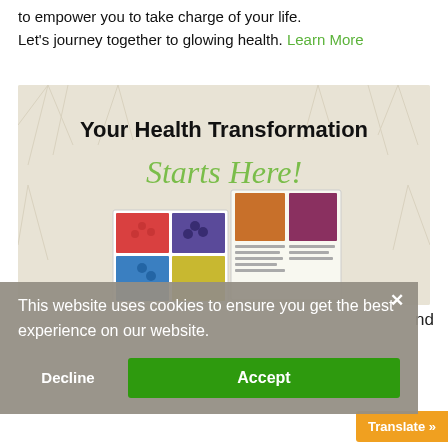to empower you to take charge of your life.
Let's journey together to glowing health. Learn More
[Figure (illustration): Promotional banner with beige/sage botanical leaf background, large bold text 'Your Health Transformation' and cursive green text 'Starts Here!', with an open cookbook/health book showing colorful food photos including berries and vegetables.]
This website uses cookies to ensure you get the best experience on our website.
Decline
Accept
nd
Translate »